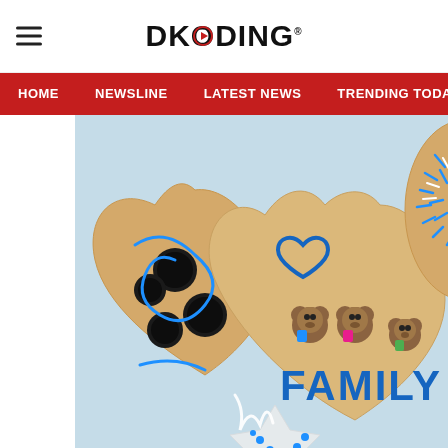DKODING
[Figure (illustration): Navigation bar with menu items: HOME, NEWSLINE, LATEST NEWS, TRENDING TODAY, ENT...]
[Figure (photo): Decorated heart-shaped cookies on a light blue background. One cookie on the left has Oreo cookies and blue icing. The center cookie is decorated with three teddy bear figurines (holding blue, pink and green items) and says FAMILY in blue icing with a blue heart outline. The upper right cookie is covered in dense blue and white sprinkles.]